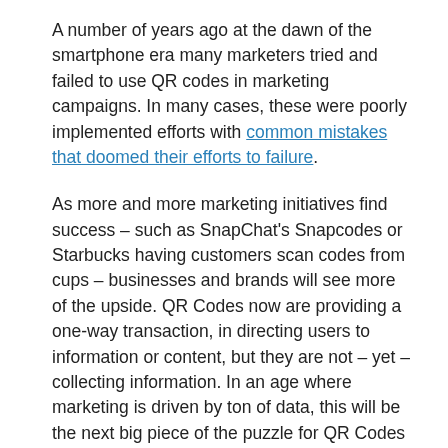A number of years ago at the dawn of the smartphone era many marketers tried and failed to use QR codes in marketing campaigns. In many cases, these were poorly implemented efforts with common mistakes that doomed their efforts to failure.
As more and more marketing initiatives find success – such as SnapChat's Snapcodes or Starbucks having customers scan codes from cups – businesses and brands will see more of the upside. QR Codes now are providing a one-way transaction, in directing users to information or content, but they are not – yet – collecting information. In an age where marketing is driven by ton of data, this will be the next big piece of the puzzle for QR Codes to explore and develop.
An area where QR codes are appear to be gaining momentum, but that are less publicly visible, are in areas related to industrial use and logistics, such as information access and inventory control. It may not be sexy, but it's